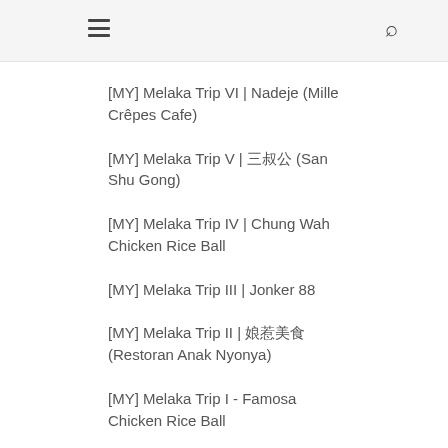[MY] Melaka Trip VI | Nadeje (Mille Crêpes Cafe)
[MY] Melaka Trip V | 三叔公 (San Shu Gong)
[MY] Melaka Trip IV | Chung Wah Chicken Rice Ball
[MY] Melaka Trip III | Jonker 88
[MY] Melaka Trip II | 娘惹美食 (Restoran Anak Nyonya)
[MY] Melaka Trip I - Famosa Chicken Rice Ball
[SG] Taste Palette